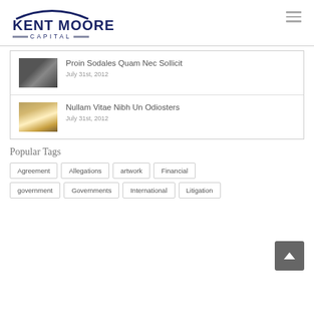[Figure (logo): Kent Moore Capital logo with dark blue arch above bold text KENT MOORE and CAPITAL below with decorative lines]
Proin Sodales Quam Nec Sollicit — July 31st, 2012
Nullam Vitae Nibh Un Odiosters — July 31st, 2012
Popular Tags
Agreement  Allegations  artwork  Financial  government  Governments  International  Litigation